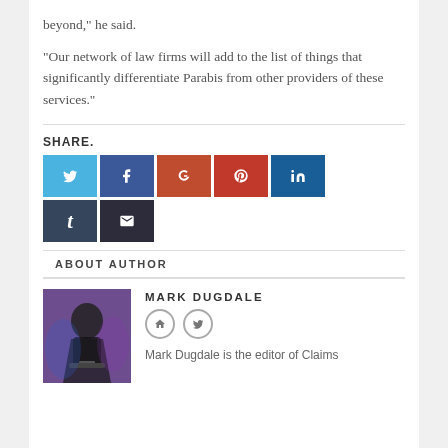beyond," he said.
"Our network of law firms will add to the list of things that significantly differentiate Parabis from other providers of these services."
SHARE.
[Figure (infographic): Social media share buttons: Twitter (light blue), Facebook (dark blue), Google+ (red-orange), Pinterest (red), LinkedIn (dark blue), Tumblr (dark navy), Email (dark charcoal)]
ABOUT AUTHOR
[Figure (photo): Black and white photo of Mark Dugdale, a person with long hair speaking at a podium, with blue/purple lighting in background]
MARK DUGDALE
Mark Dugdale is the editor of Claims